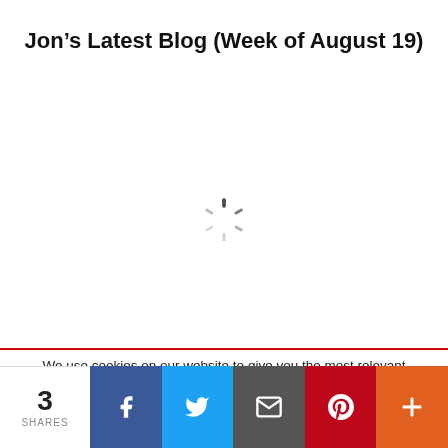Jon’s Latest Blog (Week of August 19)
[Figure (other): Loading spinner (circular dashed loading indicator)]
We use cookies on our website to give you the most relevant experience by remembering your preferences and repeat visits. By clicking “Accept”, you consent to the use of ALL the cookies.
3 SHARES